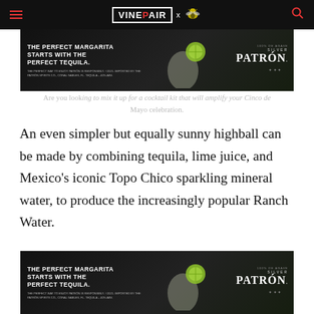VinePair [logo] x [bee icon] [search icon]
[Figure (advertisement): Patrón Silver tequila advertisement: 'THE PERFECT MARGARITA STARTS WITH THE PERFECT TEQUILA.' with margarita glass and lime image. Small print: 'THE PERFECT WAY TO ENJOY PATRÓN IS RESPONSIBLY. ©2021. IMPORTED BY THE PATRÓN SPIRITS CO., CORAL GABLES, FL. TEQUILA – 40% ABV.']
Are you looking to mix it up for a cocktail kit that will amplify your Cinco de Mayo celebration.
An even simpler but equally sunny highball can be made by combining tequila, lime juice, and Mexico's iconic Topo Chico sparkling mineral water, to produce the increasingly popular Ranch Water.
[Figure (advertisement): Patrón Silver tequila advertisement (repeated): 'THE PERFECT MARGARITA STARTS WITH THE PERFECT TEQUILA.' with margarita glass and lime image. Small print: 'THE PERFECT WAY TO ENJOY PATRÓN IS RESPONSIBLY. ©2021. IMPORTED BY THE PATRÓN SPIRITS CO., CORAL GABLES, FL. TEQUILA – 40% ABV.']